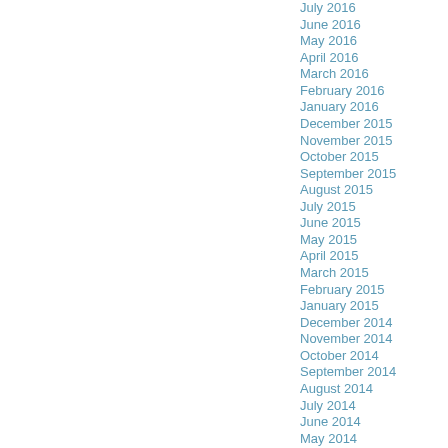July 2016
June 2016
May 2016
April 2016
March 2016
February 2016
January 2016
December 2015
November 2015
October 2015
September 2015
August 2015
July 2015
June 2015
May 2015
April 2015
March 2015
February 2015
January 2015
December 2014
November 2014
October 2014
September 2014
August 2014
July 2014
June 2014
May 2014
April 2014
March 2014
February 2014
January 2014
December 2013